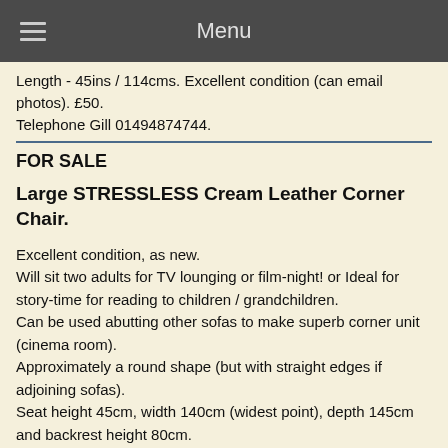Menu
Length - 45ins / 114cms. Excellent condition (can email photos). £50.
Telephone Gill 01494874744.
FOR SALE
Large STRESSLESS Cream Leather Corner Chair.
Excellent condition, as new.
Will sit two adults for TV lounging or film-night! or Ideal for story-time for reading to children / grandchildren.
Can be used abutting other sofas to make superb corner unit (cinema room).
Approximately a round shape (but with straight edges if adjoining sofas).
Seat height 45cm, width 140cm (widest point), depth 145cm and backrest height 80cm.
Free to collect from Little Chalfont.